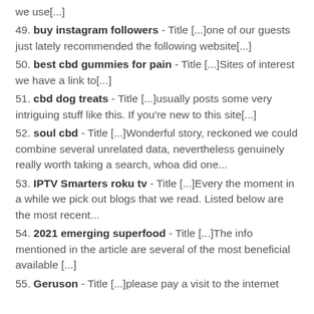we use[...]
49. buy instagram followers - Title [...]one of our guests just lately recommended the following website[...]
50. best cbd gummies for pain - Title [...]Sites of interest we have a link to[...]
51. cbd dog treats - Title [...]usually posts some very intriguing stuff like this. If you're new to this site[...]
52. soul cbd - Title [...]Wonderful story, reckoned we could combine several unrelated data, nevertheless genuinely really worth taking a search, whoa did one...
53. IPTV Smarters roku tv - Title [...]Every the moment in a while we pick out blogs that we read. Listed below are the most recent...
54. 2021 emerging superfood - Title [...]The info mentioned in the article are several of the most beneficial available [...]
55. Geruson - Title [...]please pay a visit to the internet